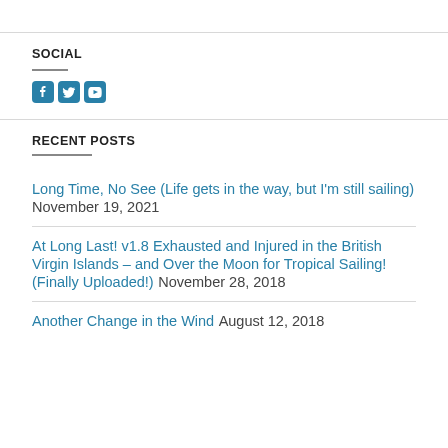SOCIAL
[Figure (illustration): Social media icons: Facebook, Twitter, YouTube in teal/blue color]
RECENT POSTS
Long Time, No See (Life gets in the way, but I'm still sailing) November 19, 2021
At Long Last! v1.8 Exhausted and Injured in the British Virgin Islands – and Over the Moon for Tropical Sailing! (Finally Uploaded!) November 28, 2018
Another Change in the Wind August 12, 2018